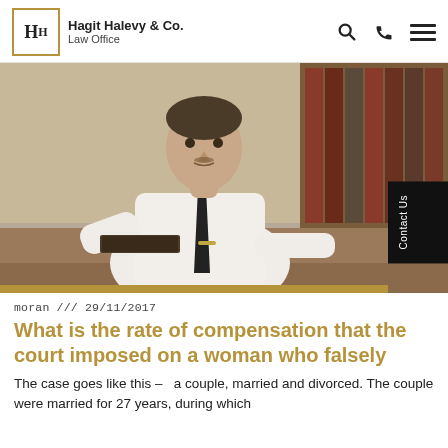Hagit Halevy & Co. Law Office
[Figure (photo): A male lawyer in white shirt and dark tie sitting at a desk with law books in the background]
moran /// 29/11/2017
What is the rate of compensation that the court imposed on a woman who falsely
The case goes like this –  a couple, married and divorced. The couple were married for 27 years, during which